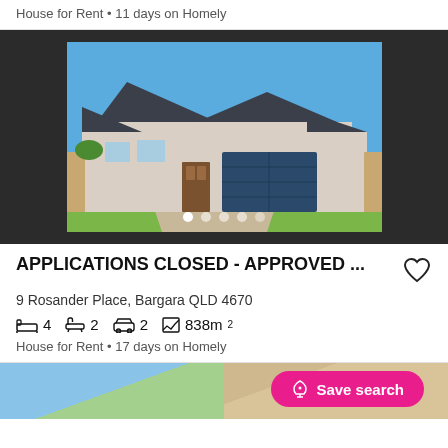House for Rent • 11 days on Homely
[Figure (photo): Front exterior of a modern single-storey brick house with grey roof, double garage, and clear blue sky background]
APPLICATIONS CLOSED - APPROVED ...
9 Rosander Place, Bargara QLD 4670
4 bedrooms, 2 bathrooms, 2 car spaces, 838m²
House for Rent • 17 days on Homely
Save search